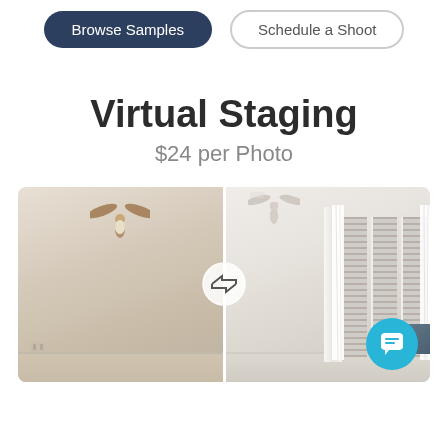Browse Samples
Schedule a Shoot
Virtual Staging
$24 per Photo
[Figure (photo): Split before/after image of an empty room on the left and a virtually staged room with windows, curtains, and blinds on the right, with a swap arrow icon overlay in the center and a teal chat button in the bottom right corner.]